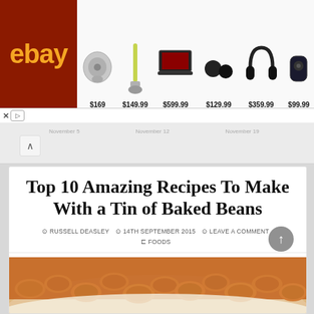[Figure (screenshot): eBay advertisement banner showing earbuds ($169), vacuum ($149.99), laptop ($599.99), earbuds ($129.99), headphones ($359.99), bluetooth speaker ($99.99)]
November 5   November 12   November 19
Top 10 Amazing Recipes To Make With a Tin of Baked Beans
RUSSELL DEASLEY   14TH SEPTEMBER 2015   LEAVE A COMMENT   FOODS
There have been lots of times in my own life when a tin of beans was all that remained in the cupboard. But it doesn't mean dinner will be any less boring, not when you have these amazing recipe to make with them...
[Figure (photo): Close-up photo of baked beans in tomato sauce on a plate]